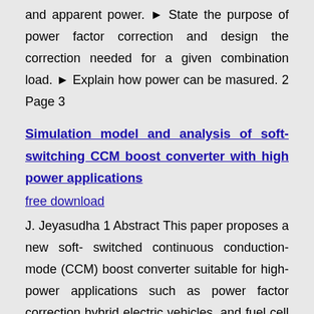and apparent power. ► State the purpose of power factor correction and design the correction needed for a given combination load. ► Explain how power can be masured. 2 Page 3
Simulation model and analysis of soft-switching CCM boost converter with high power applications
free download
J. Jeyasudha 1 Abstract This paper proposes a new soft- switched continuous conduction-mode (CCM) boost converter suitable for high-power applications such as power factor correction hybrid electric vehicles, and fuel cell power